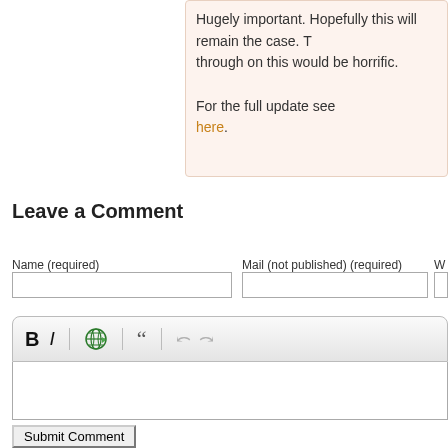Hugely important. Hopefully this will remain the case. T... through on this would be horrific.

For the full update see here.
Leave a Comment
Name (required)
Mail (not published) (required)
W
[Figure (screenshot): Comment toolbar with Bold, Italic, globe/link icon, quote icon, undo and redo buttons]
Submit Comment